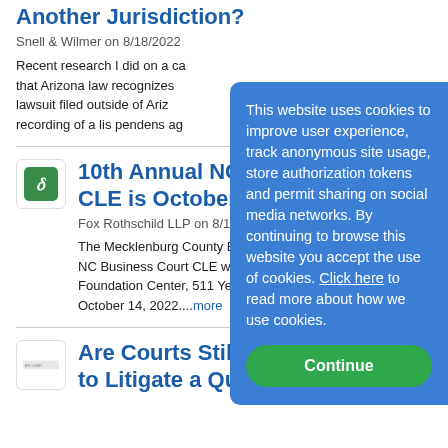Another Jurisdiction?
Snell & Wilmer on 8/18/2022
Recent research I did on a ca… that Arizona law recognizes… lawsuit filed outside of Ariz… recording of a lis pendens ag…
10th Annual NC … CLE is October 1…
Fox Rothschild LLP on 8/18…
The Mecklenburg County B… NC Business Court CLE wi… Foundation Center, 511 Yell… October 14, 2022....more
Are Courts Still … to Litigate a Qui Tam Action?
This website uses cookies to improve user experience, track anonymous site usage, store authorization tokens and permit sharing on social media networks. By continuing to browse this website you accept the use of cookies. Click here to read more about how we use cookies.